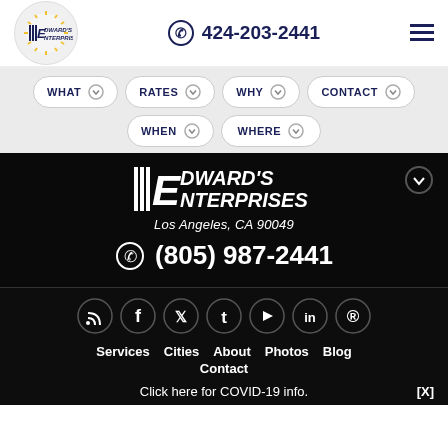[Figure (logo): Edward's Enterprises logo with striped E and sunburst, in circular white background]
424-203-2441
[Figure (other): Hamburger menu icon (three horizontal lines)]
WHAT
RATES
WHY
CONTACT
WHEN
WHERE
[Figure (logo): Edward's Enterprises dark logo with italic text on black background]
Los Angeles, CA 90049
(805) 987-2441
[Figure (other): Social media icons row: RSS, Facebook, Twitter, Tumblr, YouTube, LinkedIn, Pinterest]
Services
Cities
About
Photos
Blog
Contact
Click here for COVID-19 info.